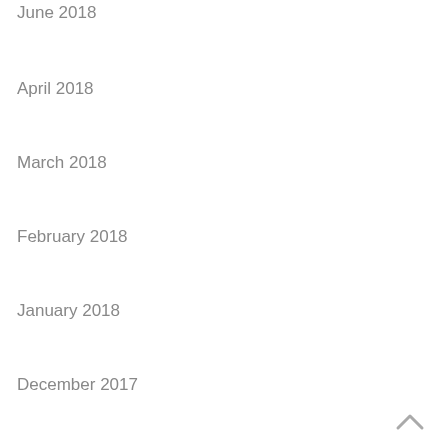June 2018
April 2018
March 2018
February 2018
January 2018
December 2017
September 2017
August 2017
June 2017
April 2017
February 2017
December 2016